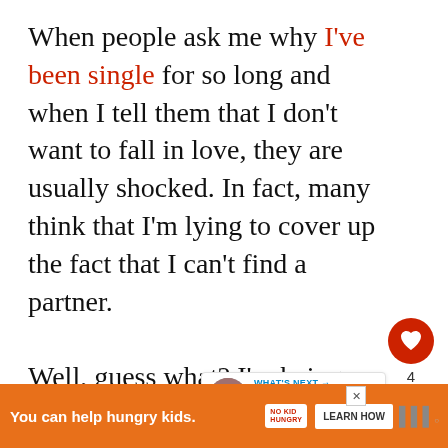When people ask me why I've been single for so long and when I tell them that I don't want to fall in love, they are usually shocked. In fact, many think that I'm lying to cover up the fact that I can't find a partner.

Well, guess what? I'm being completely honest. The truth is that I don't want to fall in love and here is why.
[Figure (other): Social interaction buttons: heart/like button (red circle with heart icon), like count of 4, and share button (circle with share icon)]
[Figure (other): What's Next widget showing a circular thumbnail of a couple and text '9 Signs Of True Love...']
[Figure (other): Advertisement banner: orange background with text 'You can help hungry kids.' No Kid Hungry logo and LEARN HOW button]